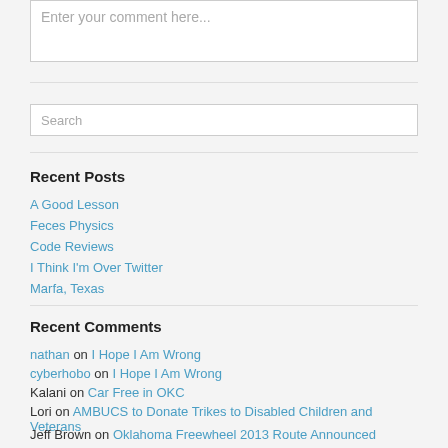Enter your comment here...
Search
Recent Posts
A Good Lesson
Feces Physics
Code Reviews
I Think I'm Over Twitter
Marfa, Texas
Recent Comments
nathan on I Hope I Am Wrong
cyberhobo on I Hope I Am Wrong
Kalani on Car Free in OKC
Lori on AMBUCS to Donate Trikes to Disabled Children and Veterans
Jeff Brown on Oklahoma Freewheel 2013 Route Announced